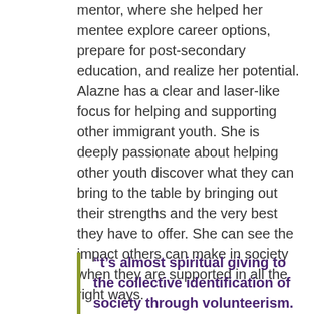mentor, where she helped her mentee explore career options, prepare for post-secondary education, and realize her potential. Alazne has a clear and laser-like focus for helping and supporting other immigrant youth. She is deeply passionate about helping other youth discover what they can bring to the table by bringing out their strengths and the very best they have to offer. She can see the impact others can make in society when they are supported in all the right ways.
“t’s almost spiritual giving to the collective identification of society through volunteerism. It has been an